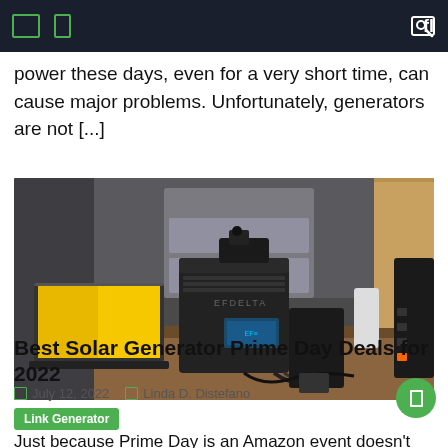power these days, even for a very short time, can cause major problems. Unfortunately, generators are not [...]
[Figure (photo): Photo of portable solar power station (EcoFlow DELTA) on a desk next to a laptop with a yellow screen, with other battery units visible in the background]
Link Generator
Best Solar Generator Prime Day Deals for 2022
July 12, 2022    Linda D. Distefano
Just because Prime Day is an Amazon event doesn't mean